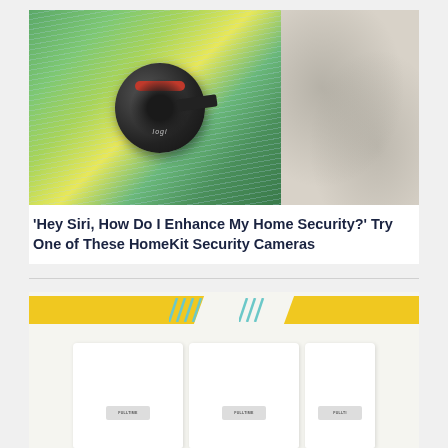[Figure (photo): A dark spherical outdoor security camera (Logitech/Logi brand) mounted on a wall bracket, photographed in the rain with green blurred background on the left, and a stone wall texture on the right.]
'Hey Siri, How Do I Enhance My Home Security?' Try One of These HomeKit Security Cameras
[Figure (photo): Three white t-shirts laid flat, each with a small brand label, against a white background. The image has yellow diagonal banner graphics at the top.]